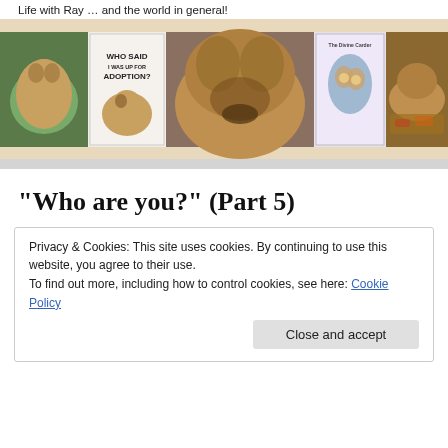Life with Ray … and the world in general!
[Figure (photo): Banner with five images: a small dog in garden, a book cover 'Who Said I Was Up For Adoption?', a close-up of a dog's face, a book cover with an owl illustration 'The Divine Carder', and a dog lying in autumn leaves.]
“Who are you?” (Part 5)
Privacy & Cookies: This site uses cookies. By continuing to use this website, you agree to their use.
To find out more, including how to control cookies, see here: Cookie Policy
Close and accept